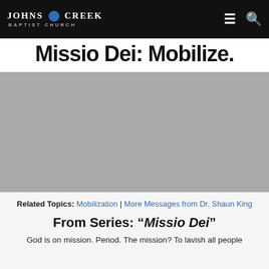Johns Creek Baptist Church
Missio Dei: Mobilize.
[Figure (other): Gray video/media player placeholder area]
Related Topics: Mobilization | More Messages from Dr. Shaun King
From Series: "Missio Dei"
God is on mission. Period. The mission? To lavish all people